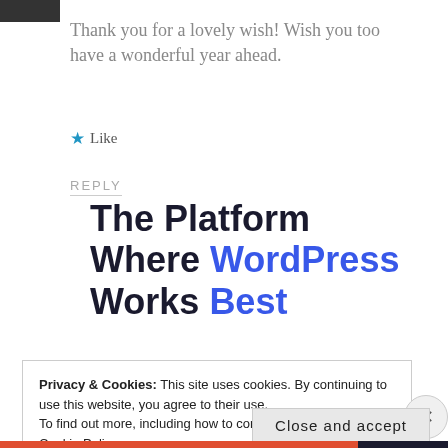[Figure (photo): Small dark avatar/profile image thumbnail at top left]
Thank you for a lovely wish! Wish you too have a wonderful year ahead.
★ Like
REPLY
The Platform Where WordPress Works Best
Privacy & Cookies: This site uses cookies. By continuing to use this website, you agree to their use.
To find out more, including how to control cookies, see here:
Cookie Policy
Close and accept